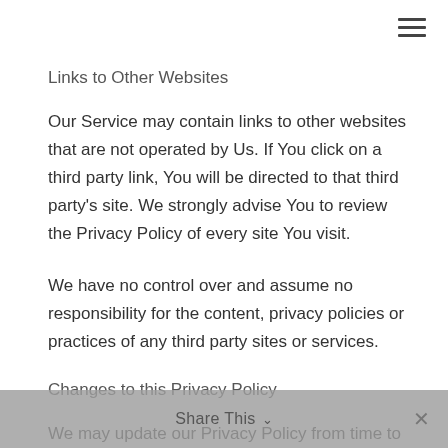Links to Other Websites
Our Service may contain links to other websites that are not operated by Us. If You click on a third party link, You will be directed to that third party’s site. We strongly advise You to review the Privacy Policy of every site You visit.
We have no control over and assume no responsibility for the content, privacy policies or practices of any third party sites or services.
Changes to this Privacy Policy
We may update our Privacy Policy from time to time. We will notify You of any changes by posting
Share This